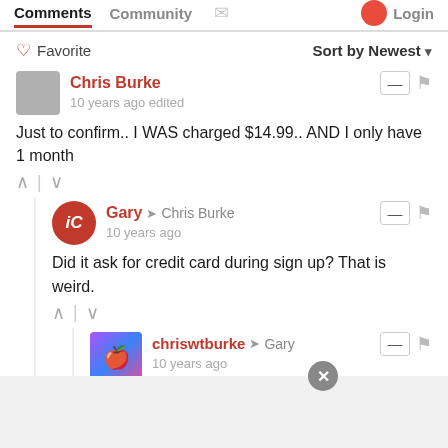Comments  Community  Login
♡ Favorite   Sort by Newest ▾
Chris Burke
10 years ago edited
Just to confirm.. I WAS charged $14.99.. AND I only have 1 month
Gary → Chris Burke
10 years ago
Did it ask for credit card during sign up? That is weird.
chriswtburke → Gary
10 years ago
it charged me through iTunes and my Apple ID... I then had to log into my iTunes account through the app store, and select manage subscriptions" and turn off a... th.. I... see